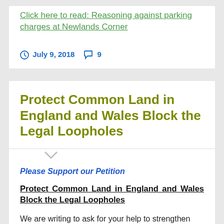Click here to read: Reasoning against parking charges at Newlands Corner
July 9, 2018   9
Protect Common Land in England and Wales Block the Legal Loopholes
Please Support our Petition
Protect Common Land in England and Wales Block the Legal Loopholes
We are writing to ask for your help to strengthen